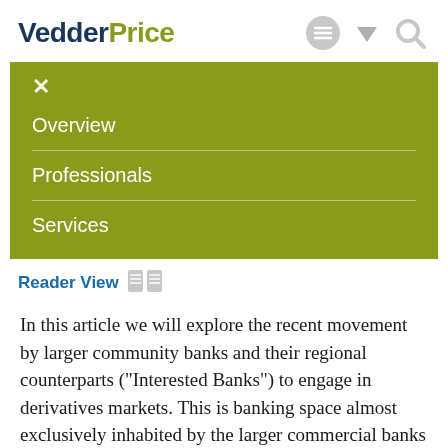VedderPrice
Overview
Professionals
Services
Reader View
In this article we will explore the recent movement by larger community banks and their regional counterparts ("Interested Banks") to engage in derivatives markets. This is banking space almost exclusively inhabited by the larger commercial banks and money center banks historically. Low